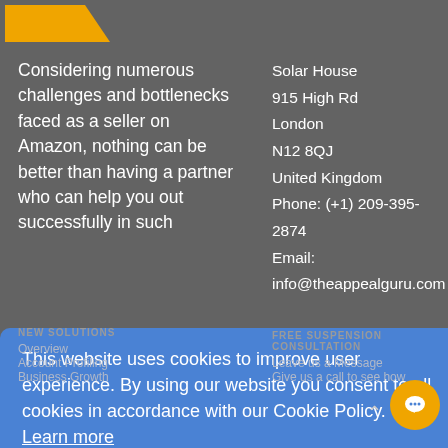[Figure (logo): Orange triangular/arrow shape logo fragment in top left]
Considering numerous challenges and bottlenecks faced as a seller on Amazon, nothing can be better than having a partner who can help you out successfully in such
Solar House
915 High Rd
London
N12 8QJ
United Kingdom
Phone: (+1) 209-395-2874
Email:
info@theappealguru.com
This website uses cookies to improve user experience. By using our website you consent to all cookies in accordance with our Cookie Policy. Learn more
Got it!
NEW SOLUTIONS
FREE SUSPENSION CONSULTATION
Overview
Account Profiling
Business Growth
Leave us a Message
Give us a call to see how